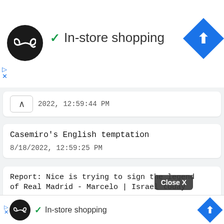[Figure (screenshot): Ad bar with circular logo (dark, infinity-like symbol), green checkmark, 'In-store shopping' text, and blue navigation diamond icon. Play and X controls at lower left.]
2022, 12:59:44 PM
Casemiro's English temptation
8/18/2022, 12:59:25 PM
Report: Nice is trying to sign the legend of Real Madrid - Marcelo | Israel today
8/18/2022, 12:36:14 PM
Former world-class water jumper Hempel accuses coach of rape. "In the end you let it go..."
8/18/2...
[Figure (screenshot): Bottom ad bar with dark circular logo, green checkmark, 'In-store shopping' text, blue navigation diamond. Play and X controls. 'Close X' dark tooltip bubble visible.]